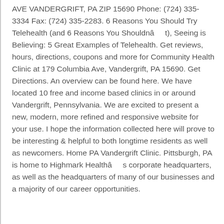AVE VANDERGRIFT, PA ZIP 15690 Phone: (724) 335-3334 Fax: (724) 335-2283. 6 Reasons You Should Try Telehealth (and 6 Reasons You Shouldnât), Seeing is Believing: 5 Great Examples of Telehealth. Get reviews, hours, directions, coupons and more for Community Health Clinic at 179 Columbia Ave, Vandergrift, PA 15690. Get Directions. An overview can be found here. We have located 10 free and income based clinics in or around Vandergrift, Pennsylvania. We are excited to present a new, modern, more refined and responsive website for your use. I hope the information collected here will prove to be interesting & helpful to both longtime residents as well as newcomers. Home PA Vandergrift Clinic. Pittsburgh, PA is home to Highmark Healthâs corporate headquarters, as well as the headquarters of many of our businesses and a majority of our career opportunities.